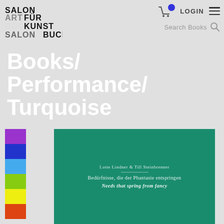[Figure (logo): Salon Art Book Kunst Salon Buch logo stacked text]
LOGIN | Search Books | cart icon | hamburger menu
Books/ Performance/ Turquoise
[Figure (illustration): Color swatches column: purple, blue, sky blue, lime green, yellow, orange-red]
[Figure (photo): Book cover on turquoise/teal background. Author: Lotte Lindner & Till Steinbrenner. Title: Bedürfnisse, die der Phantasie entspringen / Needs that spring from fancy]